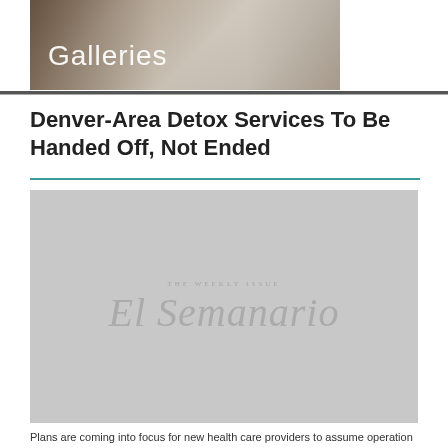[Figure (photo): Photo of an art gallery interior with text overlay reading 'Galleries']
Denver-Area Detox Services To Be Handed Off, Not Ended
[Figure (photo): Placeholder image with El Semanario watermark logo and 'THE WEEKLY ISSUE' text]
Plans are coming into focus for new health care providers to assume operation of Arapahoe House's drug and alcohol detox